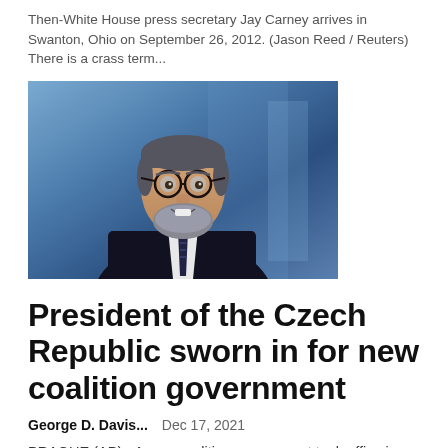Then-White House press secretary Jay Carney arrives in Swanton, Ohio on September 26, 2012. (Jason Reed / Reuters) There is a crass term...
[Figure (photo): Man with glasses and beard smiling, wearing a dark suit with striped tie, against a blue background]
President of the Czech Republic sworn in for new coalition government
George D. Davis...   Dec 17, 2021
PRAGUE (AP) - A new coalition government took office in the Czech Republic on Friday, with the coronavirus pandemic and